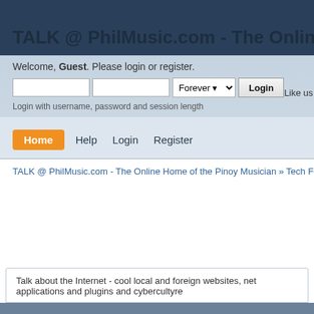TALK @ PhilMusic.com - The Online Hom
Welcome, Guest. Please login or register.
Login with username, password and session length
Like us
Home
Help
Login
Register
TALK @ PhilMusic.com - The Online Home of the Pinoy Musician » Tech Forums » ph.C
Talk about the Internet - cool local and foreign websites, net applications and plugins and cybercultyre